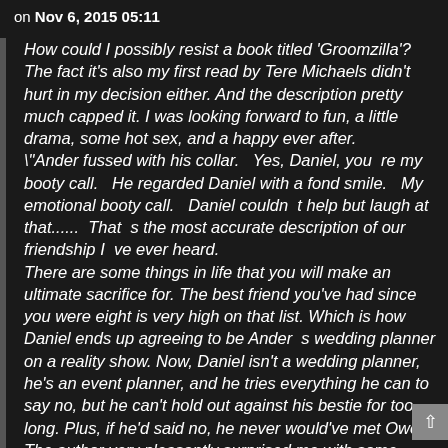on Nov 6, 2015 05:11
How could I possibly resist a book titled 'Groomzilla'? The fact it's also my first read by Tere Michaels didn't hurt in my decision either. And the description pretty much capped it. I was looking forward to fun, a little drama, some hot sex, and a happy ever after. \"Ander fussed with his collar.   Yes, Daniel, you  re my booty call.   He regarded Daniel with a fond smile.   My emotional booty call.   Daniel couldn  t help but laugh at that......  That  s the most accurate description of our friendship I  ve ever heard. There are some things in life that you will make an ultimate sacrifice for. The best friend you've had since you were eight is very high on that list. Which is how Daniel ends up agreeing to be Ander  s wedding planner on a reality show. Now, Daniel isn't a wedding planner, he's an event planner, and he tries everything he can to say no, but he can't hold out against his bestie for too long. Plus, if he'd said no, he never would've met Owen. The author very pleasantly surprised me with some slightly intense drama I wasn't expecting. Let's face it, the title led me to believe fun, happy, sexy, etc., right?